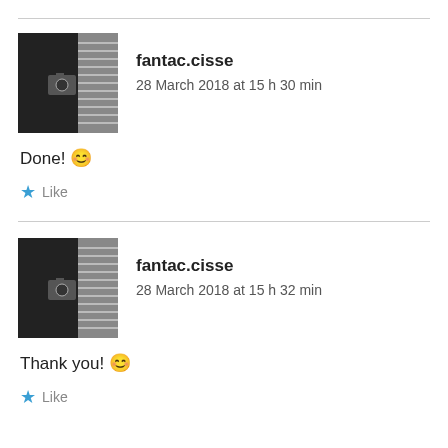[Figure (photo): Black and white photo used as avatar for fantac.cisse, showing a corner of a room with a window and blinds.]
fantac.cisse
28 March 2018 at 15 h 30 min
Done! 😊
★ Like
[Figure (photo): Black and white photo used as avatar for fantac.cisse, showing a corner of a room with a window and blinds.]
fantac.cisse
28 March 2018 at 15 h 32 min
Thank you! 😊
★ Like